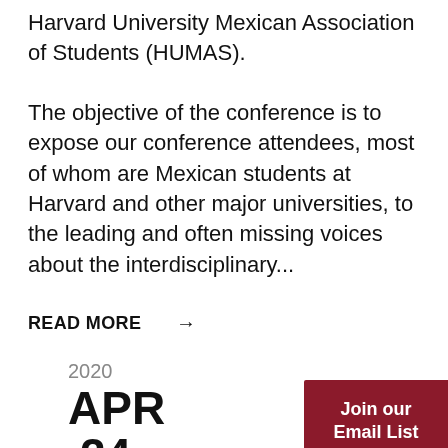Harvard University Mexican Association of Students (HUMAS).
The objective of the conference is to expose our conference attendees, most of whom are Mexican students at Harvard and other major universities, to the leading and often missing voices about the interdisciplinary...
READ MORE →
2020
APR
24
[Figure (other): Join our Email List button — dark red/maroon button with white bold text]
Taller de racismo y